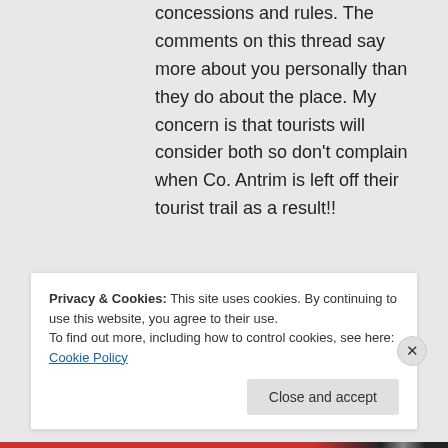concessions and rules. The comments on this thread say more about you personally than they do about the place. My concern is that tourists will consider both so don't complain when Co. Antrim is left off their tourist trail as a result!!
↪ Reply
Privacy & Cookies: This site uses cookies. By continuing to use this website, you agree to their use.
To find out more, including how to control cookies, see here: Cookie Policy
Close and accept